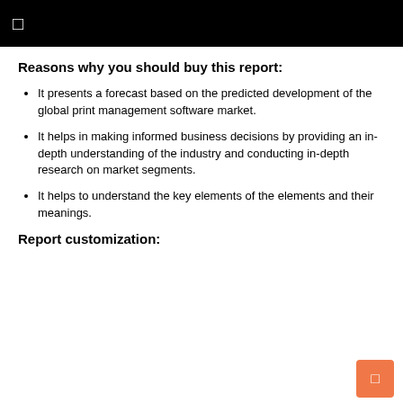Reasons why you should buy this report:
It presents a forecast based on the predicted development of the global print management software market.
It helps in making informed business decisions by providing an in-depth understanding of the industry and conducting in-depth research on market segments.
It helps to understand the key elements of the elements and their meanings.
Report customization: